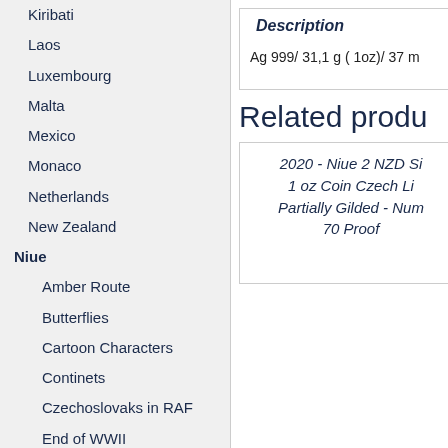Kiribati
Laos
Luxembourg
Malta
Mexico
Monaco
Netherlands
New Zealand
Niue
Amber Route
Butterflies
Cartoon Characters
Continets
Czechoslovaks in RAF
End of WWII
Endangered Animal Species
Famous Love Stories
Fascinating World of Birds
Description
Ag 999/ 31,1 g ( 1oz)/ 37 m
Related produ
2020 - Niue 2 NZD Si 1 oz Coin Czech Li Partially Gilded - Num 70 Proof